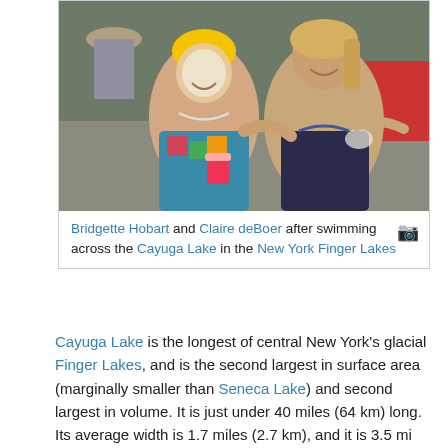[Figure (photo): Two women smiling after a swim, one wearing a yellow swim cap and colorful swimsuit holding a pink-lidded cup, the other in a dark blue swimsuit]
Bridgette Hobart and Claire deBoer after swimming across the Cayuga Lake in the New York Finger Lakes
Cayuga Lake is the longest of central New York's glacial Finger Lakes, and is the second largest in surface area (marginally smaller than Seneca Lake) and second largest in volume. It is just under 40 miles (64 km) long. Its average width is 1.7 miles (2.7 km), and it is 3.5 mi